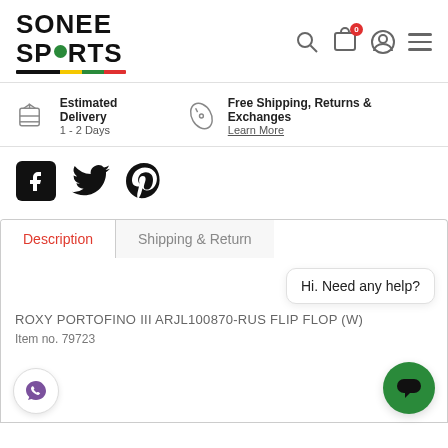[Figure (logo): Sonee Sports logo with green dot in SPORTS text and multicolor underline]
Estimated Delivery
1 - 2 Days
Free Shipping, Returns & Exchanges
Learn More
[Figure (infographic): Facebook, Twitter, Pinterest social media icons]
Description
Shipping & Return
Hi. Need any help?
ROXY PORTOFINO III ARJL100870-RUS FLIP FLOP (W)
Item no. 79723